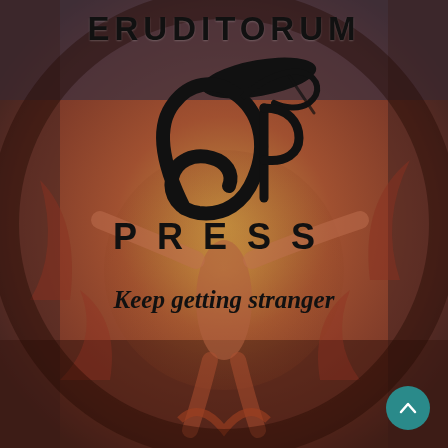[Figure (illustration): Background illustration showing a surreal figure in warm reddish-brown tones, reminiscent of William Blake's artwork, with organic forms, a large circle in the center, and figures stretching across the full page.]
ERUDITORUM
[Figure (logo): Eruditorum Press logo - a stylized cursive 'EP' monogram in black ink, flowing calligraphic letterforms.]
PRESS
Keep getting stranger